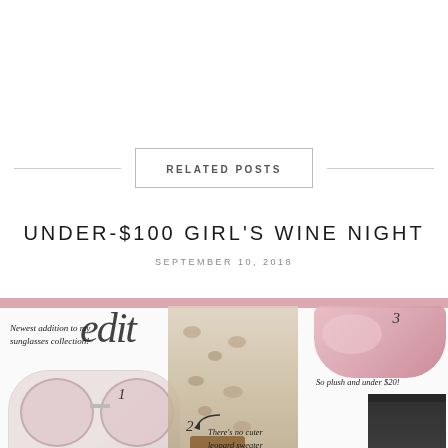RELATED POSTS
UNDER-$100 GIRL'S WINE NIGHT
SEPTEMBER 10, 2018
[Figure (infographic): Fashion collage showing: (1) pink mirrored sunglasses labeled 'Newest addition to my sunglasses collection!' numbered 1; (2) leopard print sweater labeled 'There's no cuter leopard sweater for $30' numbered 2 with arrow; (3) pink fuzzy slippers labeled 'So plush and under $20!' numbered 3; and a black skirt partially visible. Pink horizontal bar at top. Script text 'edit' overlay at top.]